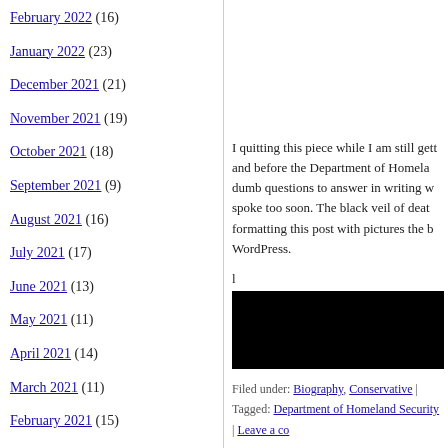February 2022 (16)
January 2022 (23)
December 2021 (21)
November 2021 (19)
October 2021 (18)
September 2021 (9)
August 2021 (16)
July 2021 (17)
June 2021 (13)
May 2021 (11)
April 2021 (14)
March 2021 (11)
February 2021 (15)
January 2021 (18)
December 2020 (19)
November 2020 (14)
October 2020 (23)
I quitting this piece while I am still getting and before the Department of Homeland dumb questions to answer in writing w spoke too soon. The black veil of deat formatting this post with pictures the b WordPress.
l
[Figure (photo): Black rectangle image]
Filed under: Biography, Conservative | Tagged: Department of Homeland Security | Leave a co
A Piece of History to Learn Fr
Posted on 12/10/2013 by Grumpa Joe